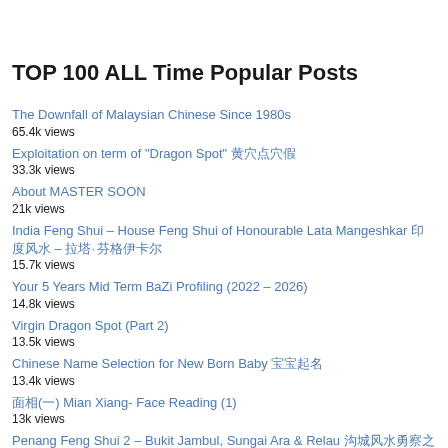TOP 100 ALL Time Popular Posts
The Downfall of Malaysian Chinese Since 1980s
65.4k views
Exploitation on term of "Dragon Spot" 龙穴点穴假
33.3k views
About MASTER SOON
21k views
India Feng Shui – House Feng Shui of Honourable Lata Mangeshkar 印度风水 – 拉塔·芒格什卡尔
15.7k views
Your 5 Years Mid Term BaZi Profiling (2022 – 2026)
14.8k views
Virgin Dragon Spot (Part 2)
13.5k views
Chinese Name Selection for New Born Baby 宝宝起名
13.4k views
面相(一) Mian Xiang- Face Reading (1)
13k views
Penang Feng Shui 2 – Bukit Jambul, Sungai Ara & Relau 槟城风水勘察之旅2010之二
12.5k views
2019 Malaysia Destiny Code 二零一九年 1
12.4k views